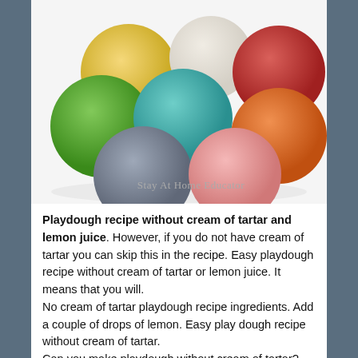[Figure (photo): Photo of colorful playdough balls arranged together on a white surface. Colors include yellow, green, teal, white, red, orange, gray, and pink. Watermark reads 'Stay At Home Educator'.]
Playdough recipe without cream of tartar and lemon juice. However, if you do not have cream of tartar you can skip this in the recipe. Easy playdough recipe without cream of tartar or lemon juice. It means that you will.
No cream of tartar playdough recipe ingredients. Add a couple of drops of lemon. Easy play dough recipe without cream of tartar.
Can you make playdough without cream of tartar? When